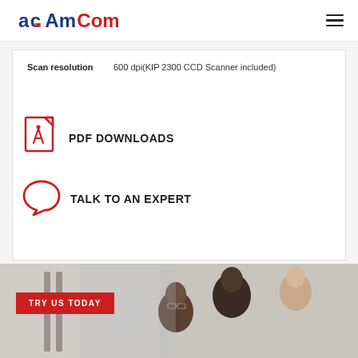AmCom
Scan resolution | 600 dpi(KIP 2300 CCD Scanner included)
[Figure (illustration): Red PDF file icon (document with folded corner and Acrobat-style symbol)]
PDF DOWNLOADS
[Figure (illustration): Red speech bubble / chat icon]
TALK TO AN EXPERT
[Figure (photo): Photo of people looking at a screen, partially visible at bottom of page]
TRY US TODAY